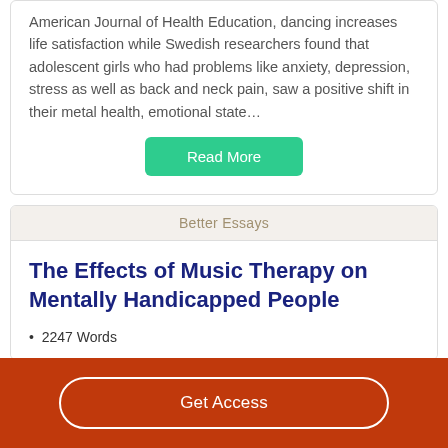American Journal of Health Education, dancing increases life satisfaction while Swedish researchers found that adolescent girls who had problems like anxiety, depression, stress as well as back and neck pain, saw a positive shift in their metal health, emotional state…
Read More
Better Essays
The Effects of Music Therapy on Mentally Handicapped People
2247 Words
Get Access